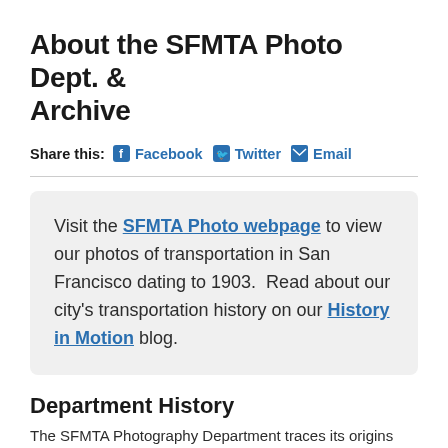About the SFMTA Photo Dept. & Archive
Share this: Facebook Twitter Email
Visit the SFMTA Photo webpage to view our photos of transportation in San Francisco dating to 1903.  Read about our city's transportation history on our History in Motion blog.
Department History
The SFMTA Photography Department traces its origins to the...